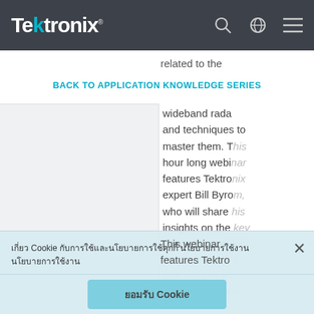Tektronix
related to the
BACK TO APPLICATION KNOWLEDGE SERIES
wideband rada and techniques to master them. This hour long webinar features Tektronix expert Bill Byrom, who will share his insights on the key factor to consider when simulating and analyzing wideband signals.
เกี่ยว Cookie กับการใช้และนโยบาย นโยบายการใช้งาน
ยอมรับ Cookie
This webinar features Tektro